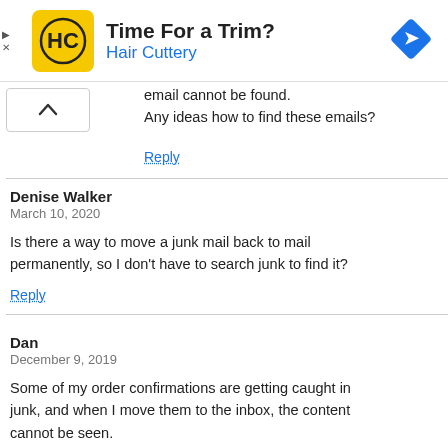[Figure (infographic): Advertisement banner for Hair Cuttery with yellow HC logo, text 'Time For a Trim?' and 'Hair Cuttery' in blue, and a blue diamond navigation icon on the right.]
email cannot be found.
Any ideas how to find these emails?
Reply
Denise Walker
March 10, 2020

Is there a way to move a junk mail back to mail permanently, so I don't have to search junk to find it?
Reply
Dan
December 9, 2019

Some of my order confirmations are getting caught in junk, and when I move them to the inbox, the content cannot be seen.